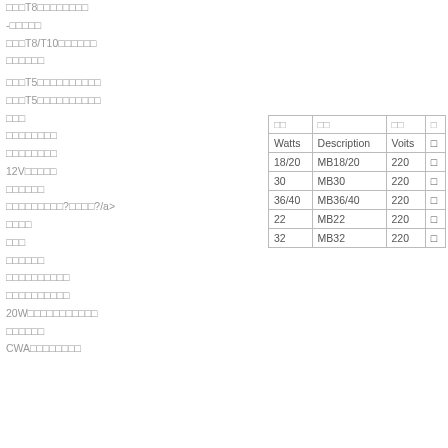□□□T8□□□□□□□□
-□□□□□
□□□T8/T10□□□□□□
□□□□□□
□□□T5□□□□□□□□□□
□□□T5□□□□□□□□□□
□□□
□□□□□□□□
□□□□□□□□
12V□□□□□
□□□□□□
□□□□□□□□□?□□□□?/a>
□□□□
□□□
□□□□□□
□□□□□□□□□□
□□□□□□□□□□
20W□□□□□□□□□□□
□□□□□□
CWA□□□□□□□□
| □□ | □□ | □□ | □ |
| --- | --- | --- | --- |
| Watts | Description | Voits | □ |
| 18/20 | MB18/20 | 220 | □ |
| 30 | MB30 | 220 | □ |
| 36/40 | MB36/40 | 220 | □ |
| 22 | MB22 | 220 | □ |
| 32 | MB32 | 220 | □ |